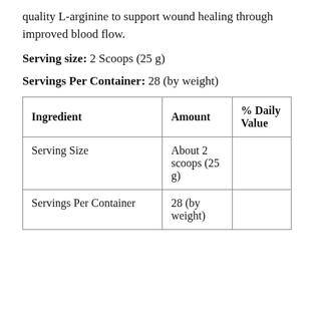quality L-arginine to support wound healing through improved blood flow.
Serving size: 2 Scoops (25 g)
Servings Per Container: 28 (by weight)
| Ingredient | Amount | % Daily Value |
| --- | --- | --- |
| Serving Size | About 2 scoops (25 g) |  |
| Servings Per Container | 28 (by weight) |  |